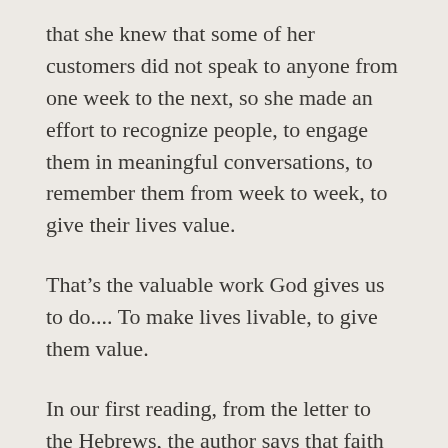that she knew that some of her customers did not speak to anyone from one week to the next, so she made an effort to recognize people, to engage them in meaningful conversations, to remember them from week to week, to give their lives value.
That's the valuable work God gives us to do.... To make lives livable, to give them value.
In our first reading, from the letter to the Hebrews, the author says that faith is the assurance of things hoped for...what is seen was made from things that are not visible.  The life we can see was made from things we cannot see.  Our faith is built on something we